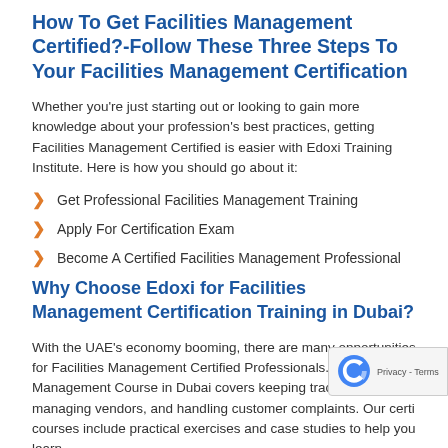How To Get Facilities Management Certified?-Follow These Three Steps To Your Facilities Management Certification
Whether you're just starting out or looking to gain more knowledge about your profession's best practices, getting Facilities Management Certified is easier with Edoxi Training Institute. Here is how you should go about it:
Get Professional Facilities Management Training
Apply For Certification Exam
Become A Certified Facilities Management Professional
Why Choose Edoxi for Facilities Management Certification Training in Dubai?
With the UAE's economy booming, there are many opportunities for Facilities Management Certified Professionals. The Facilities Management Course in Dubai covers keeping track of inventory, managing vendors, and handling customer complaints. Our certi courses include practical exercises and case studies to help you learn